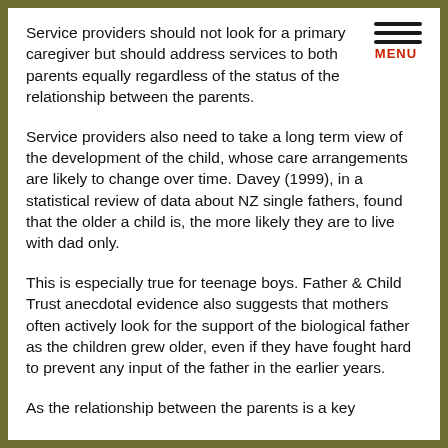Service providers should not look for a primary caregiver but should address services to both parents equally regardless of the status of the relationship between the parents.
Service providers also need to take a long term view of the development of the child, whose care arrangements are likely to change over time. Davey (1999), in a statistical review of data about NZ single fathers, found that the older a child is, the more likely they are to live with dad only.
This is especially true for teenage boys. Father & Child Trust anecdotal evidence also suggests that mothers often actively look for the support of the biological father as the children grew older, even if they have fought hard to prevent any input of the father in the earlier years.
As the relationship between the parents is a key